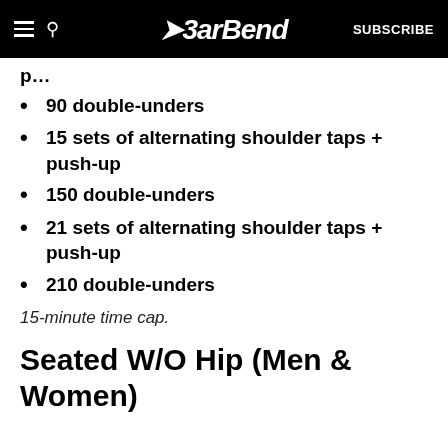BarBend SUBSCRIBE
90 double-unders
15 sets of alternating shoulder taps + push-up
150 double-unders
21 sets of alternating shoulder taps + push-up
210 double-unders
15-minute time cap.
Seated W/O Hip (Men & Women)